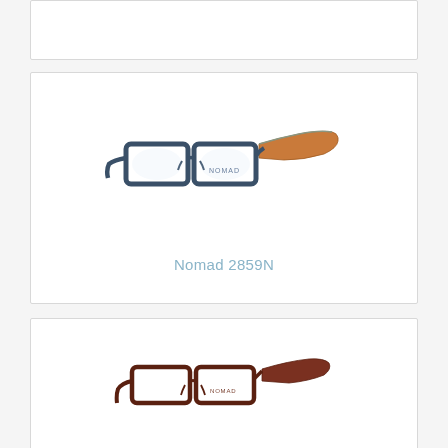[Figure (photo): Top card - partially visible eyeglasses product card (cropped at top of page)]
[Figure (photo): Nomad 2859N eyeglasses - rectangular blue/navy metal frames with brown/orange patterned temples, side profile view]
Nomad 2859N
[Figure (photo): Third eyeglasses product card - brown/dark red rectangular metal frames, side profile view, partially visible at bottom of page]